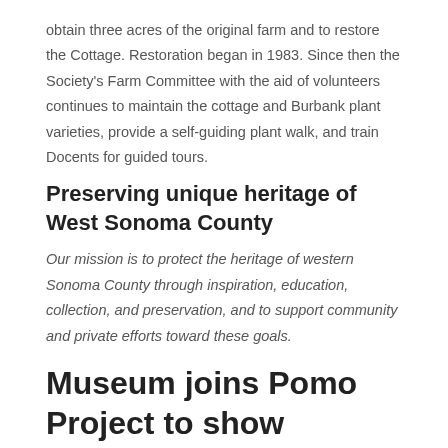obtain three acres of the original farm and to restore the Cottage. Restoration began in 1983. Since then the Society’s Farm Committee with the aid of volunteers continues to maintain the cottage and Burbank plant varieties, provide a self-guiding plant walk, and train Docents for guided tours.
Preserving unique heritage of West Sonoma County
Our mission is to protect the heritage of western Sonoma County through inspiration, education, collection, and preservation, and to support community and private efforts toward these goals.
Museum joins Pomo Project to show Batikletcawi Was Here